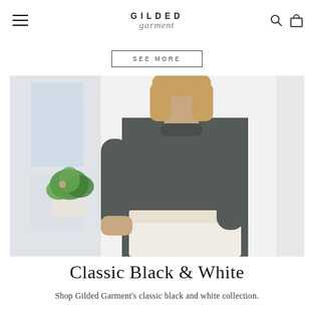GILDED garment
SEE MORE
[Figure (photo): Woman with blonde hair wearing a dark charcoal mock-neck long-sleeve blouse and white high-waisted paper-bag pants, posing in a bright white room with a green plant in the background.]
Classic Black & White
Shop Gilded Garment's classic black and white collection.